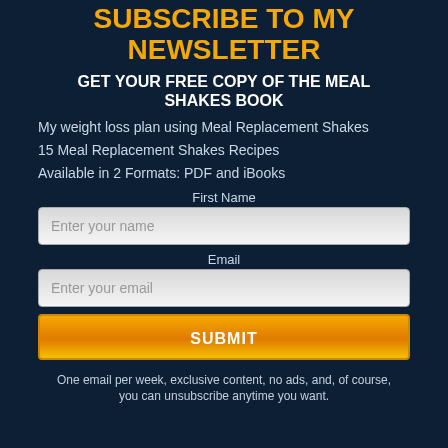SUBSCRIBE TO MY NEWSLETTER
GET YOUR FREE COPY OF THE MEAL SHAKES BOOK
My weight loss plan using Meal Replacement Shakes
15 Meal Replacement Shakes Recipes
Available in 2 Formats: PDF and iBooks
First Name
Enter your name
Email
Enter your email
SUBMIT
One email per week, exclusive content, no ads, and, of course, you can unsubscribe anytime you want.